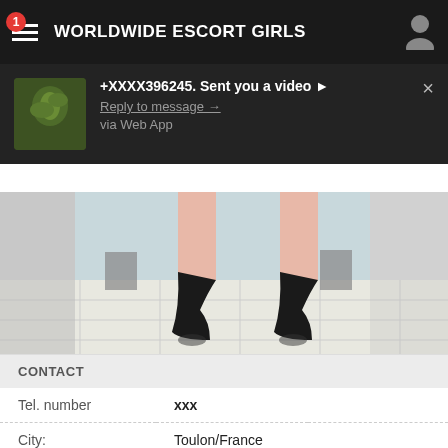WORLDWIDE ESCORT GIRLS
+XXXX396245. Sent you a video ▶ Reply to message → via Web App
[Figure (screenshot): Photo of legs in black high heel shoes on a light tile floor]
CONTACT
| Field | Value |
| --- | --- |
| Tel. number | xxx |
| City: | Toulon/France |
| Last seen: | Yesterday in 20:56 |
| Yesterday: | 04:01 |